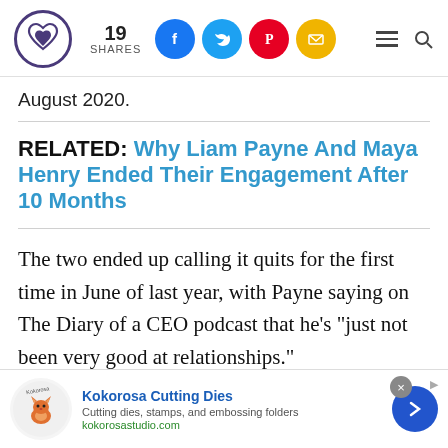19 SHARES [social icons: Facebook, Twitter, Pinterest, Email] [hamburger menu] [search]
August 2020.
RELATED: Why Liam Payne And Maya Henry Ended Their Engagement After 10 Months
The two ended up calling it quits for the first time in June of last year, with Payne saying on The Diary of a CEO podcast that he's "just not been very good at relationships."
[Figure (other): Advertisement banner for Kokorosa Cutting Dies — logo with fox illustration, text: Kokorosa Cutting Dies, Cutting dies, stamps, and embossing folders, kokorosastudio.com, close button, arrow button]